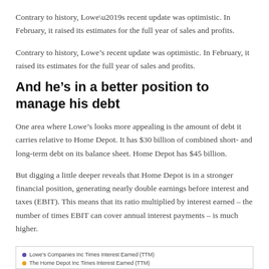Contrary to history, Lowe’s recent update was optimistic. In February, it raised its estimates for the full year of sales and profits.
And he’s in a better position to manage his debt
One area where Lowe’s looks more appealing is the amount of debt it carries relative to Home Depot. It has $30 billion of combined short- and long-term debt on its balance sheet. Home Depot has $45 billion.
But digging a little deeper reveals that Home Depot is in a stronger financial position, generating nearly double earnings before interest and taxes (EBIT). This means that its ratio multiplied by interest earned – the number of times EBIT can cover annual interest payments – is much higher.
[Figure (line-chart): Legend showing Lowe's Companies Inc Times Interest Earned (TTM) and The Home Depot Inc Times Interest Earned (TTM)]